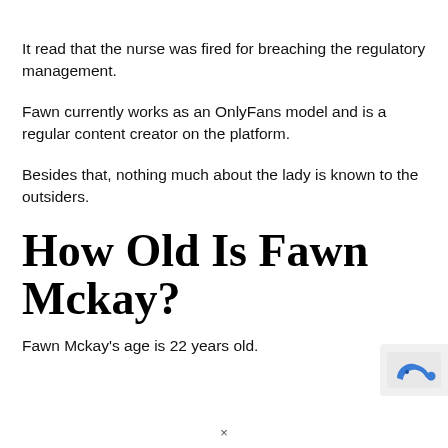It read that the nurse was fired for breaching the regulatory management.
Fawn currently works as an OnlyFans model and is a regular content creator on the platform.
Besides that, nothing much about the lady is known to the outsiders.
How Old Is Fawn Mckay?
Fawn Mckay's age is 22 years old.
[Figure (logo): Small blue dinosaur/animal logo icon in bottom right corner]
×